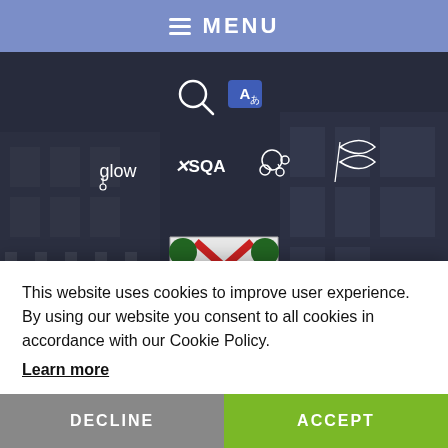MENU
[Figure (screenshot): School website hero image showing a dark overlay over a school building, with navigation icons (search, translate), external links (glow, SQA, two icon links), and a school crest/coat of arms in the center]
This website uses cookies to improve user experience. By using our website you consent to all cookies in accordance with our Cookie Policy. Learn more
DECLINE
ACCEPT